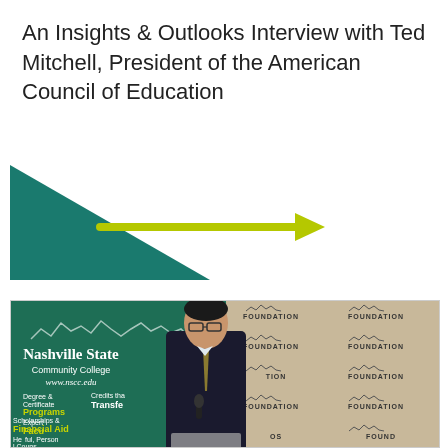An Insights & Outlooks Interview with Ted Mitchell, President of the American Council of Education
[Figure (illustration): Decorative graphic band with teal triangle shape on the left and a yellow-green arrow pointing right, on a white background.]
[Figure (photo): Photo of a man in a dark suit speaking at a podium. Behind him on the left is a Nashville State Community College banner (www.nscc.edu) with details about Degree & Certificate Programs, Credits that Transfer, Expert Faculty, Scholarships & Financial Aid, Helpful Personal Counseling. On the right is a repeating Foundation backdrop with city skyline logos.]